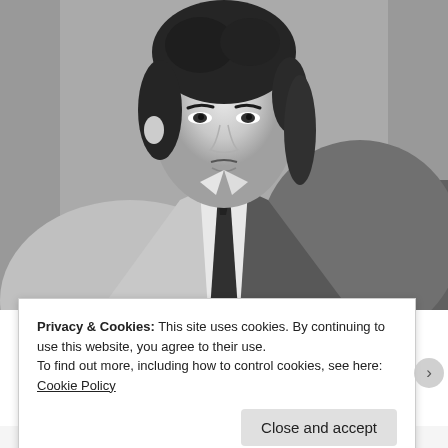[Figure (photo): Black and white portrait photo of a young Asian man wearing a light grey suit, white dress shirt, and dark tie. He has medium-length dark hair and is looking slightly to the side with a serious expression.]
Privacy & Cookies: This site uses cookies. By continuing to use this website, you agree to their use.
To find out more, including how to control cookies, see here: Cookie Policy
Close and accept